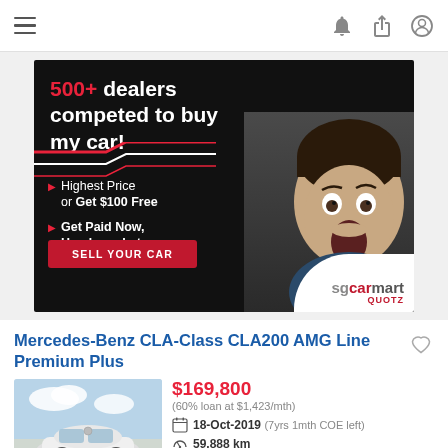Navigation bar with hamburger menu and icons for notifications, share, and profile
[Figure (advertisement): SGCarmart Quotz ad: '500+ dealers competed to buy my car!' with bullet points 'Highest Price or Get $100 Free' and 'Get Paid Now, Handover Later', red SELL YOUR CAR button, person with surprised expression, sgcarmart quotz logo on white oval]
Mercedes-Benz CLA-Class CLA200 AMG Line Premium Plus
$169,800
(60% loan at $1,423/mth)
18-Oct-2019 (7yrs 1mth COE left)
59,888 km